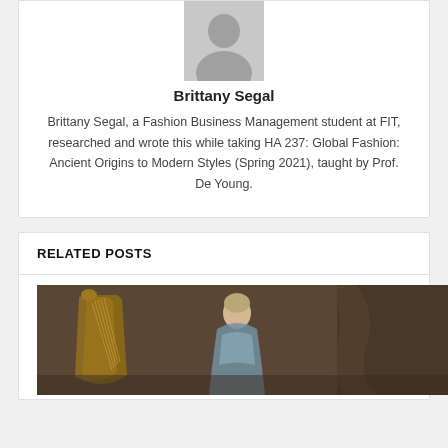[Figure (illustration): Generic user avatar placeholder icon in gray]
Brittany Segal
Brittany Segal, a Fashion Business Management student at FIT, researched and wrote this while taking HA 237: Global Fashion: Ancient Origins to Modern Styles (Spring 2021), taught by Prof. De Young.
RELATED POSTS
[Figure (photo): Classical oil painting of an 18th-century woman in an ornate dress playing a harp]